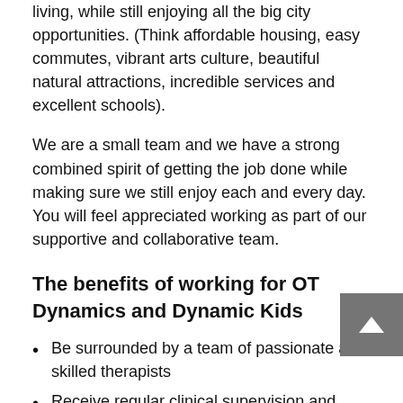living, while still enjoying all the big city opportunities. (Think affordable housing, easy commutes, vibrant arts culture, beautiful natural attractions, incredible services and excellent schools).
We are a small team and we have a strong combined spirit of getting the job done while making sure we still enjoy each and every day. You will feel appreciated working as part of our supportive and collaborative team.
The benefits of working for OT Dynamics and Dynamic Kids
Be surrounded by a team of passionate and skilled therapists
Receive regular clinical supervision and peer